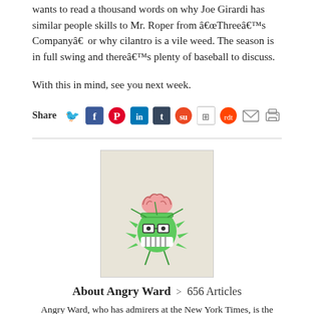wants to read a thousand words on why Joe Girardi has similar people skills to Mr. Roper from “Three’s Company” or why cilantro is a vile weed. The season is in full swing and there’s plenty of baseball to discuss.
With this in mind, see you next week.
[Figure (infographic): Share row with social media icons: Twitter (blue bird), Facebook (blue f), Pinterest (red P), LinkedIn (blue in), Tumblr (blue t), StumbleUpon (orange), another icon, Reddit, email, print]
[Figure (illustration): Cartoon illustration of Angry Ward character: a green spiky monster with a brain on top, glasses, and large teeth, on a beige background]
About Angry Ward > 656 Articles
Angry Ward, who has admirers at the New York Times, is the quintessential angry sports fan but for one exception... he's flat-out funny. And the angrier he gets, the more amusing his work becomes. Psychiatrists say, "Angry Ward's 'anger' is a direct result